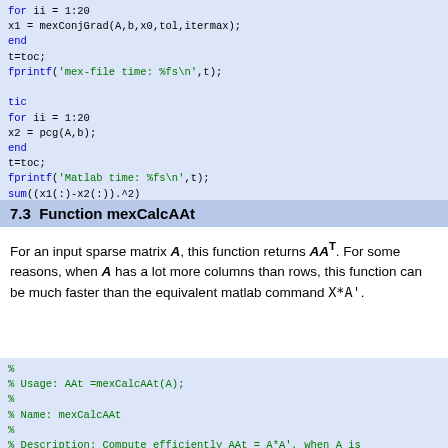for ii = 1:20
x1 = mexConjGrad(A,b,x0,tol,itermax);
end
t=toc;
fprintf('mex-file time: %fs\n',t);

tic
for ii = 1:20
x2 = pcg(A,b);
end
t=toc;
fprintf('Matlab time: %fs\n',t);
sum((x1(:)-x2(:)).^2)
7.3  Function mexCalcAAt
For an input sparse matrix A, this function returns AA^T. For some reasons, when A has a lot more columns than rows, this function can be much faster than the equivalent matlab command X*A'.
%
% Usage:    AAt =mexCalcAAt(A);
%
% Name: mexCalcAAt
%
% Description: Compute efficiently AAt = A*A', when A is
%   and has a lot more columns than rows. In some cases,
%   up to 20 times faster than the equivalent Matlab e...